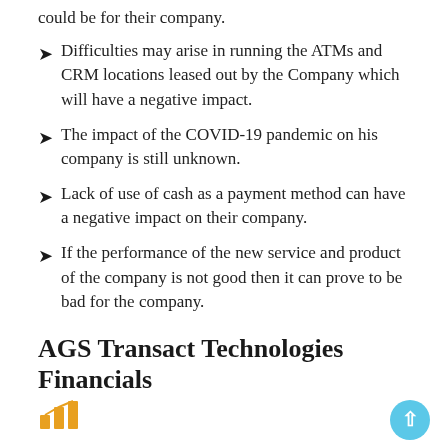could be for their company.
Difficulties may arise in running the ATMs and CRM locations leased out by the Company which will have a negative impact.
The impact of the COVID-19 pandemic on his company is still unknown.
Lack of use of cash as a payment method can have a negative impact on their company.
If the performance of the new service and product of the company is not good then it can prove to be bad for the company.
AGS Transact Technologies Financials
[Figure (other): Bar chart icon in orange/gold color]
AGS Transact Technologies Financials(in Crores)